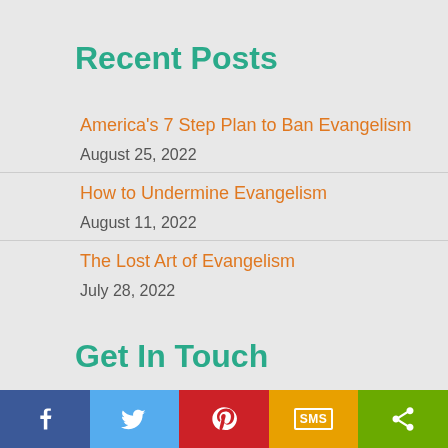Recent Posts
America's 7 Step Plan to Ban Evangelism
August 25, 2022
How to Undermine Evangelism
August 11, 2022
The Lost Art of Evangelism
July 28, 2022
Get In Touch
ADDRESS
[Figure (infographic): Social media sharing bar with Facebook (blue), Twitter (light blue), Pinterest (red), SMS (orange/yellow), and Share (green) buttons with white icons]